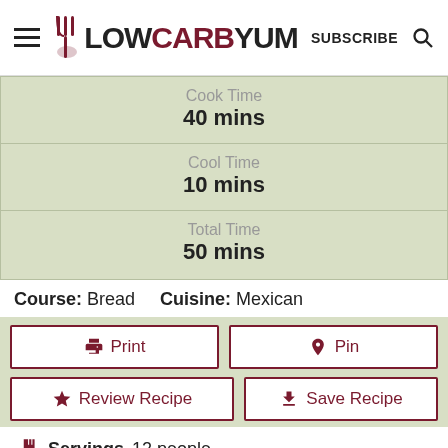LOWCARBYUM — SUBSCRIBE
Cook Time
40 mins
Cool Time
10 mins
Total Time
50 mins
Course: Bread    Cuisine: Mexican
Print  Pin  Review Recipe  Save Recipe
Servings 12 people